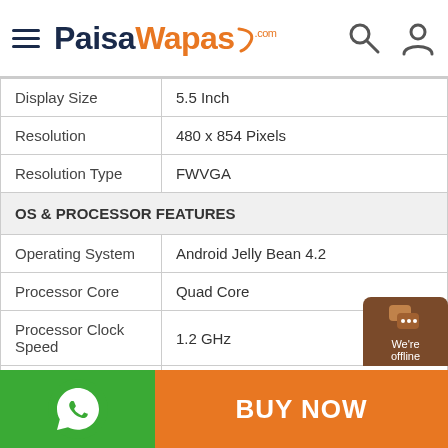PaisaWapas.com
| Feature | Value |
| --- | --- |
| Display Size | 5.5 Inch |
| Resolution | 480 x 854 Pixels |
| Resolution Type | FWVGA |
| OS & PROCESSOR FEATURES |  |
| Operating System | Android Jelly Bean 4.2 |
| Processor Core | Quad Core |
| Processor Clock Speed | 1.2 GHz |
| Operating Frequency | GSM - 850, 900, 1800, 1900; UMTS - 2100 |
BUY NOW